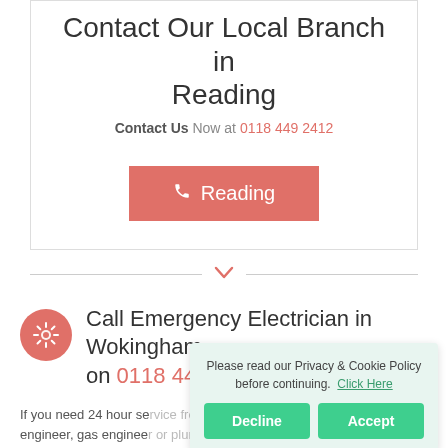Contact Our Local Branch in Reading
Contact Us Now at 0118 449 2412
[Figure (other): Pink/salmon colored button with phone icon and text 'Reading']
[Figure (other): Horizontal divider with salmon chevron/down-arrow in center]
[Figure (other): Salmon circular icon with gear/settings symbol]
Call Emergency Electrician in Wokingham on 0118 449 2412
If you need 24 hour se... engineer, gas enginee... Wokingham to call and... Electrician in Wokingham carry out any type of electrical
Please read our Privacy & Cookie Policy before continuing. Click Here
Decline
Accept